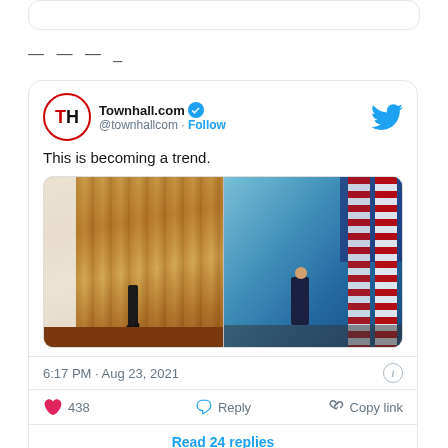[Figure (screenshot): Partial top of a tweet card, showing only the rounded border.]
— — — _
[Figure (screenshot): Tweet from Townhall.com (@townhallcom) with verified badge and Follow link. Tweet text: 'This is becoming a trend.' Includes two side-by-side photos of a person walking away. Timestamp: 6:17 PM · Aug 23, 2021. 438 likes, Reply, Copy link, Read 24 replies.]